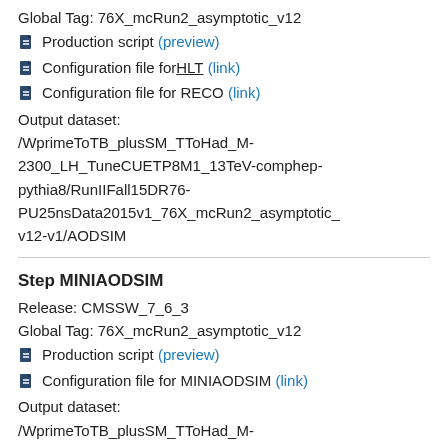Global Tag: 76X_mcRun2_asymptotic_v12
Production script (preview)
Configuration file for HLT (link)
Configuration file for RECO (link)
Output dataset:
/WprimeToTB_plusSM_TToHad_M-2300_LH_TuneCUETP8M1_13TeV-comphep-pythia8/RunIIFall15DR76-PU25nsData2015v1_76X_mcRun2_asymptotic_v12-v1/AODSIM
Step MINIAODSIM
Release: CMSSW_7_6_3
Global Tag: 76X_mcRun2_asymptotic_v12
Production script (preview)
Configuration file for MINIAODSIM (link)
Output dataset:
/WprimeToTB_plusSM_TToHad_M-2300_LH_TuneCUETP8M1_13TeV-comphep-